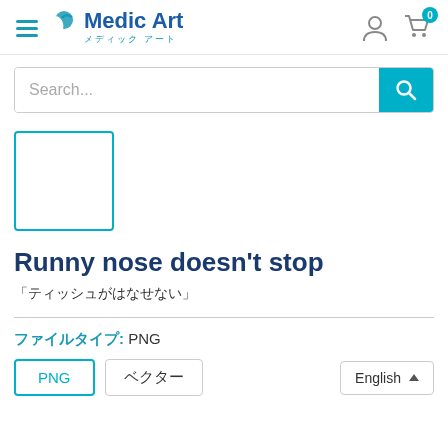[Figure (logo): Medic Art logo with Japanese text メディック アート and teal/blue icon]
Search...
[Figure (other): Teal bordered empty product image placeholder]
Runny nose doesn't stop
「ティッシュがはなせない」
ファイルタイプ: PNG
PNG　ベクター